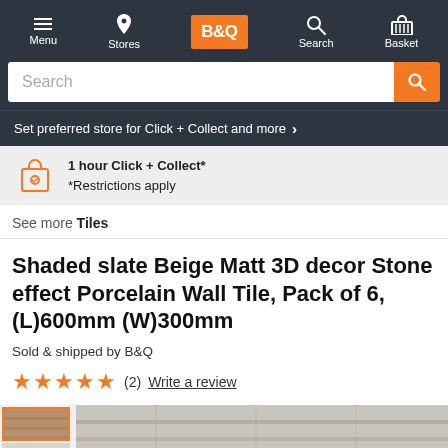B&Q website navigation: Menu, Stores, B&Q logo, Search, Basket
Search
Set preferred store for Click + Collect and more >
1 hour Click + Collect* *Restrictions apply
See more Tiles
Shaded slate Beige Matt 3D decor Stone effect Porcelain Wall Tile, Pack of 6, (L)600mm (W)300mm
Sold & shipped by B&Q
★★★★★ (2) Write a review
[Figure (screenshot): Product thumbnail images and main product image of beige slate tiles]